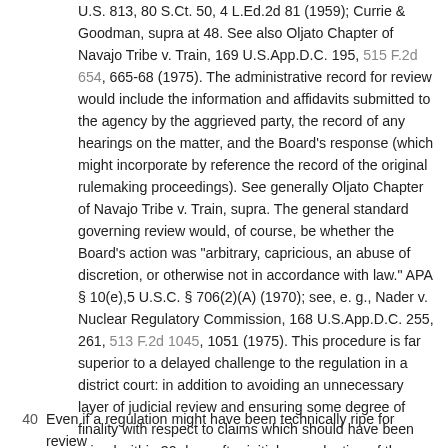U.S. 813, 80 S.Ct. 50, 4 L.Ed.2d 81 (1959); Currie & Goodman, supra at 48. See also Oljato Chapter of Navajo Tribe v. Train, 169 U.S.App.D.C. 195, 515 F.2d 654, 665-68 (1975). The administrative record for review would include the information and affidavits submitted to the agency by the aggrieved party, the record of any hearings on the matter, and the Board's response (which might incorporate by reference the record of the original rulemaking proceedings). See generally Oljato Chapter of Navajo Tribe v. Train, supra. The general standard governing review would, of course, be whether the Board's action was "arbitrary, capricious, an abuse of discretion, or otherwise not in accordance with law." APA § 10(e),5 U.S.C. § 706(2)(A) (1970); see, e. g., Nader v. Nuclear Regulatory Commission, 168 U.S.App.D.C. 255, 261, 513 F.2d 1045, 1051 (1975). This procedure is far superior to a delayed challenge to the regulation in a district court: in addition to avoiding an unnecessary layer of judicial review and ensuring some degree of finality with respect to claims which should have been raised within 30 days after initial promulgation of the regulation, the agency with expertise on the matters in issue is afforded the first opportunity to evaluate the implications of the new information.10
40  Even if a regulation might have been technically ripe for review